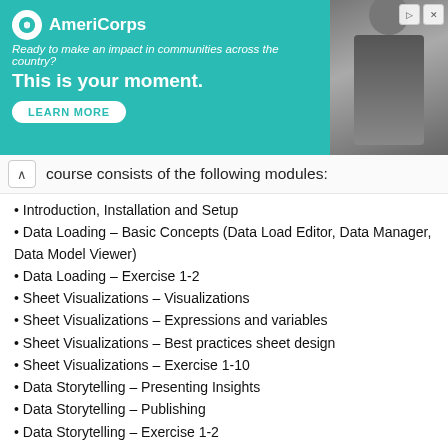[Figure (other): AmeriCorps advertisement banner with teal background, logo, tagline 'Ready to make an impact in communities across the country?', headline 'This is your moment.', LEARN MORE button, and photo of person on right]
course consists of the following modules:
Introduction, Installation and Setup
Data Loading – Basic Concepts (Data Load Editor, Data Manager, Data Model Viewer)
Data Loading – Exercise 1-2
Sheet Visualizations – Visualizations
Sheet Visualizations – Expressions and variables
Sheet Visualizations – Best practices sheet design
Sheet Visualizations – Exercise 1-10
Data Storytelling – Presenting Insights
Data Storytelling – Publishing
Data Storytelling – Exercise 1-2
Who should follow this course?
Students that want to learn the basics of QlikSense
Business Analysts and Designers who are already familiar with other visualization tools and want to learn